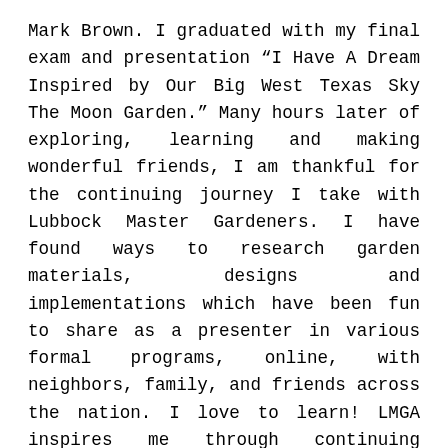Mark Brown. I graduated with my final exam and presentation “I Have A Dream Inspired by Our Big West Texas Sky The Moon Garden.” Many hours later of exploring, learning and making wonderful friends, I am thankful for the continuing journey I take with Lubbock Master Gardeners. I have found ways to research garden materials, designs and implementations which have been fun to share as a presenter in various formal programs, online, with neighbors, family, and friends across the nation. I love to learn! LMGA inspires me through continuing education events. It brings me in contact with bright, intelligent, well trained people at the Lubbock Memorial Arboretum, Texas Tech University Horticultural Department, Texas A&M AgriLife Extension and guest speakers from across the nation who are